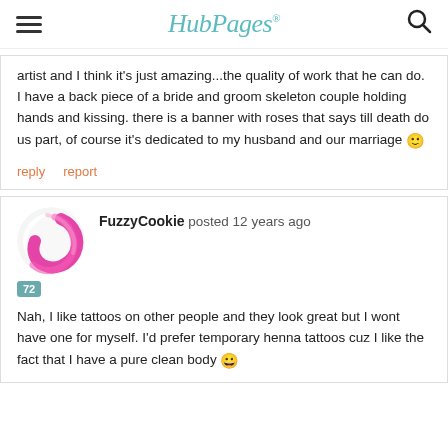HubPages
artist and I think it's just amazing...the quality of work that he can do. I have a back piece of a bride and groom skeleton couple holding hands and kissing. there is a banner with roses that says till death do us part, of course it's dedicated to my husband and our marriage 🙂
reply   report
FuzzyCookie posted 12 years ago
Nah, I like tattoos on other people and they look great but I wont have one for myself. I'd prefer temporary henna tattoos cuz I like the fact that I have a pure clean body 😀